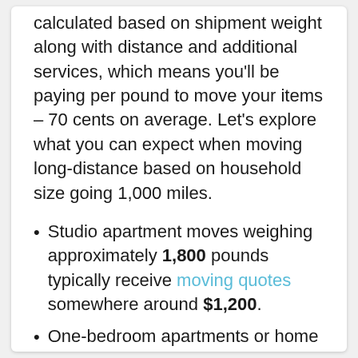calculated based on shipment weight along with distance and additional services, which means you'll be paying per pound to move your items – 70 cents on average. Let's explore what you can expect when moving long-distance based on household size going 1,000 miles.
Studio apartment moves weighing approximately 1,800 pounds typically receive moving quotes somewhere around $1,200.
One-bedroom apartments or home moves weighing anywhere from 2,000 to 3,000 pounds generally